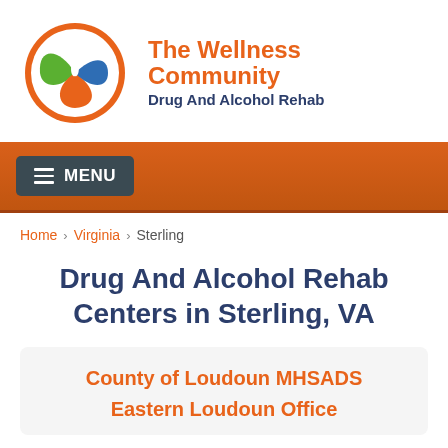[Figure (logo): The Wellness Community circular logo with green, orange, and blue leaf/figure design]
The Wellness Community
Drug And Alcohol Rehab
MENU
Home › Virginia › Sterling
Drug And Alcohol Rehab Centers in Sterling, VA
County of Loudoun MHSADS
Eastern Loudoun Office